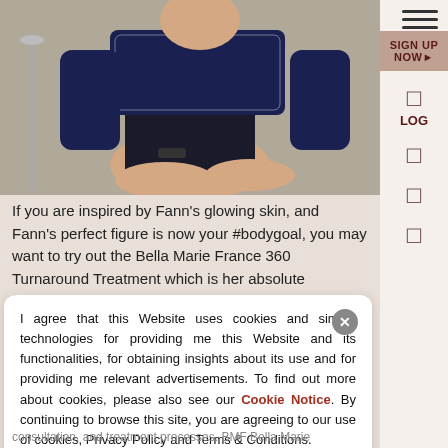[Figure (photo): Woman seated wearing a navy blue and white knit top and black mini skirt, in what appears to be a spa or clinic setting]
If you are inspired by Fann's glowing skin, and Fann's perfect figure is now your #bodygoal, you may want to try out the Bella Marie France 360 Turnaround Treatment which is her absolute favourite.
I agree that this Website uses cookies and similar technologies for providing me this Website and its functionalities, for obtaining insights about its use and for providing me relevant advertisements. To find out more about cookies, please also see our Cookie Notice. By continuing to browse this site, you are agreeing to our use of cookies, Privacy Policy and Terms & Conditions.
consultation, and treatment processes. BMF Bella Marie